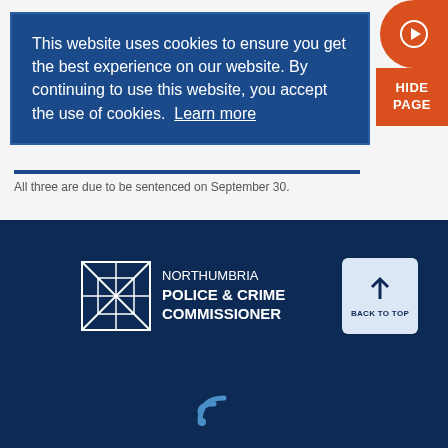This website uses cookies to ensure you get the best experience on our website. By continuing to use this website, you accept the use of cookies. Learn more
All three are due to be sentenced on September 30.
[Figure (logo): Northumbria Police & Crime Commissioner logo with stylized envelope/cross box icon]
BACK TO TOP
[Figure (other): RSS feed icon at bottom of page]